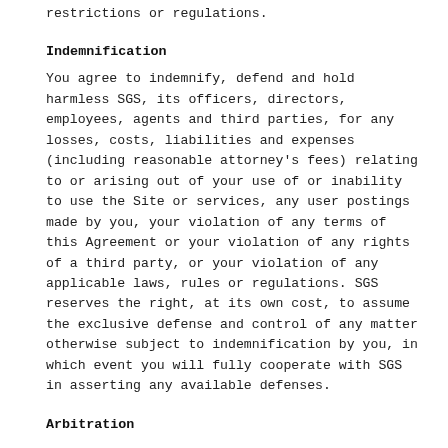restrictions or regulations.
Indemnification
You agree to indemnify, defend and hold harmless SGS, its officers, directors, employees, agents and third parties, for any losses, costs, liabilities and expenses (including reasonable attorney's fees) relating to or arising out of your use of or inability to use the Site or services, any user postings made by you, your violation of any terms of this Agreement or your violation of any rights of a third party, or your violation of any applicable laws, rules or regulations. SGS reserves the right, at its own cost, to assume the exclusive defense and control of any matter otherwise subject to indemnification by you, in which event you will fully cooperate with SGS in asserting any available defenses.
Arbitration